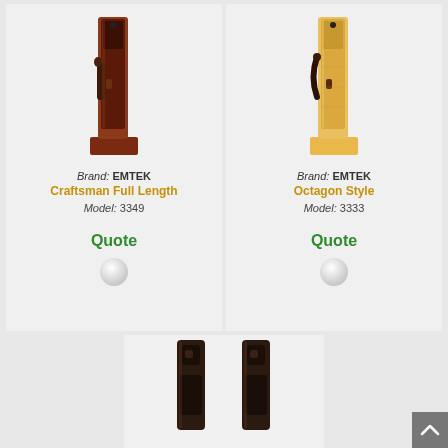[Figure (photo): Door handleset product photo - Emtek Craftsman Full Length, mounted on dark wood plinth, dark bronze finish]
Brand: EMTEK
Craftsman Full Length
Model: 3349
Quote
[Figure (photo): Door handleset product photo - Emtek Octagon Style, mounted on light wood plinth, dark bronze finish]
Brand: EMTEK
Octagon Style
Model: 3333
Quote
[Figure (photo): Door hardware product photos - two dark bronze door pull/lock pieces shown side by side, bottom of page]